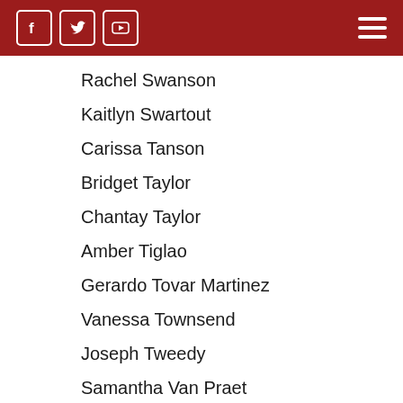Header bar with Facebook, Twitter, YouTube social icons and hamburger menu
Rachel Swanson
Kaitlyn Swartout
Carissa Tanson
Bridget Taylor
Chantay Taylor
Amber Tiglao
Gerardo Tovar Martinez
Vanessa Townsend
Joseph Tweedy
Samantha Van Praet
Sydney Villa
Ernesto Villanueva
Camilla Villasenor
Helena Villegas
Megan Volkers